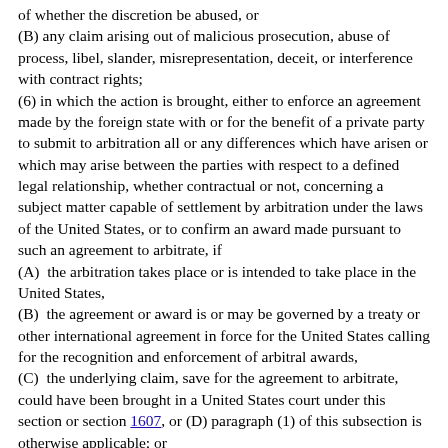of whether the discretion be abused, or
(B) any claim arising out of malicious prosecution, abuse of process, libel, slander, misrepresentation, deceit, or interference with contract rights;
(6) in which the action is brought, either to enforce an agreement made by the foreign state with or for the benefit of a private party to submit to arbitration all or any differences which have arisen or which may arise between the parties with respect to a defined legal relationship, whether contractual or not, concerning a subject matter capable of settlement by arbitration under the laws of the United States, or to confirm an award made pursuant to such an agreement to arbitrate, if
(A)  the arbitration takes place or is intended to take place in the United States,
(B)  the agreement or award is or may be governed by a treaty or other international agreement in force for the United States calling for the recognition and enforcement of arbitral awards,
(C)  the underlying claim, save for the agreement to arbitrate, could have been brought in a United States court under this section or section 1607, or (D) paragraph (1) of this subsection is otherwise applicable; or
(7) not otherwise covered by paragraph (2), in which money damages are sought against a foreign state for personal injury or death that was caused by an act of torture, extrajudicial killing, aircraft sabotage, hostage taking, or the provision of material